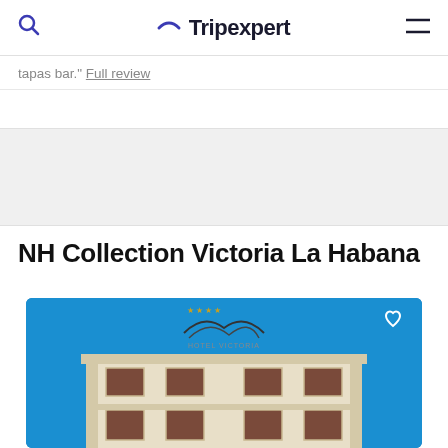Tripexpert
tapas bar." Full review
NH Collection Victoria La Habana
[Figure (photo): Exterior photo of Hotel Victoria La Habana building facade against a bright blue sky, showing ornate signage on the rooftop.]